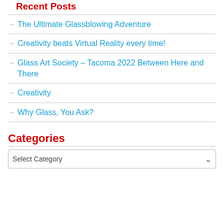Recent Posts
The Ultimate Glassblowing Adventure
Creativity beats Virtual Reality every time!
Glass Art Society – Tacoma 2022 Between Here and There
Creativity
Why Glass, You Ask?
Categories
Select Category